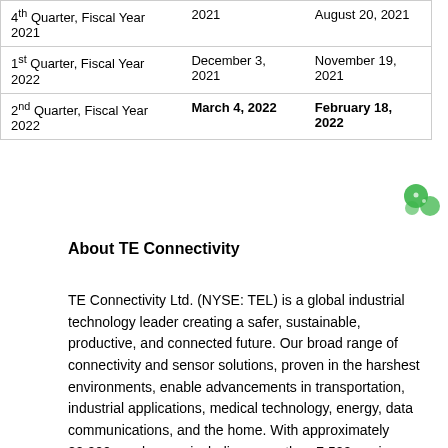| 4th Quarter, Fiscal Year 2021 | 2021 | August 20, 2021 |
| 1st Quarter, Fiscal Year 2022 | December 3, 2021 | November 19, 2021 |
| 2nd Quarter, Fiscal Year 2022 | March 4, 2022 | February 18, 2022 |
About TE Connectivity
TE Connectivity Ltd. (NYSE: TEL) is a global industrial technology leader creating a safer, sustainable, productive, and connected future. Our broad range of connectivity and sensor solutions, proven in the harshest environments, enable advancements in transportation, industrial applications, medical technology, energy, data communications, and the home. With approximately 80,000 employees, including more than 7,500 engineers, working alongside customers in approximately 140 countries, TE ensures that EVERY CONNECTION COUNTS. Learn more at www.te.com and on LinkedIn, Facebook, WeChat and Twitter.